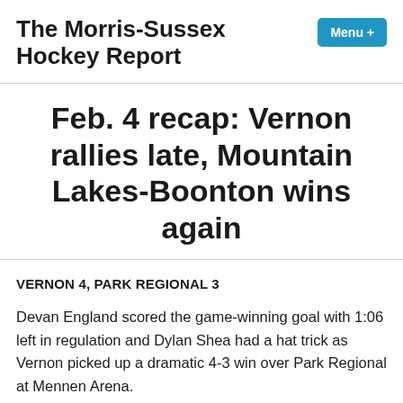The Morris-Sussex Hockey Report
Feb. 4 recap: Vernon rallies late, Mountain Lakes-Boonton wins again
VERNON 4, PARK REGIONAL 3
Devan England scored the game-winning goal with 1:06 left in regulation and Dylan Shea had a hat trick as Vernon picked up a dramatic 4-3 win over Park Regional at Mennen Arena.